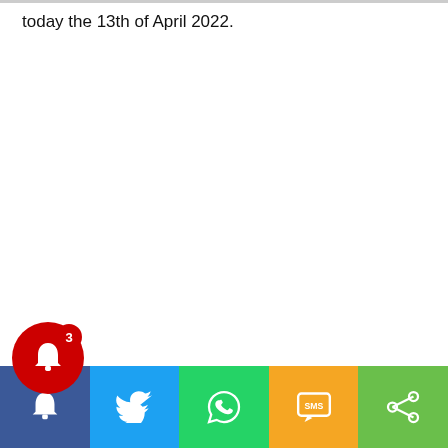today the 13th of April 2022.
[Figure (screenshot): Social sharing toolbar at the bottom with notification bell (red circle, badge '3'), Twitter bird icon, WhatsApp icon, SMS icon, and share icon on colored buttons (blue, light blue, green, yellow/orange, lime green).]